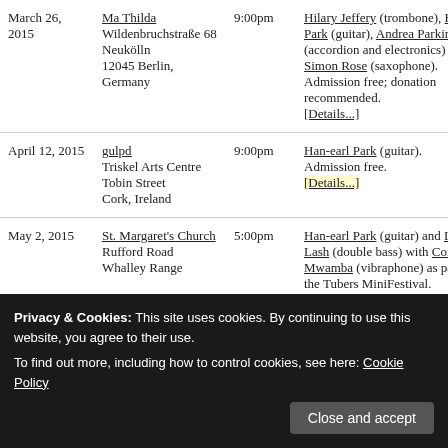| Date | Venue | Time | Details |
| --- | --- | --- | --- |
| March 26, 2015 | Ma Thilda
Wildenbruchstraße 68
Neukölln
12045 Berlin, Germany | 9:00pm | Hilary Jeffery (trombone), Han-earl Park (guitar), Andrea Parkins (accordion and electronics) and Simon Rose (saxophone).
Admission free; donation recommended.
[Details...] |
| April 12, 2015 | gulpd
Triskel Arts Centre
Tobin Street
Cork, Ireland | 9:00pm | Han-earl Park (guitar).
Admission free.
[Details...] |
| May 2, 2015 | St. Margaret's Church
Rufford Road
Whalley Range | 5:00pm | Han-earl Park (guitar) and Dominic Lash (double bass) with Corey Mwamba (vibaphone) as part of the Tubers MiniFestival. |
Privacy & Cookies: This site uses cookies. By continuing to use this website, you agree to their use.
To find out more, including how to control cookies, see here: Cookie Policy